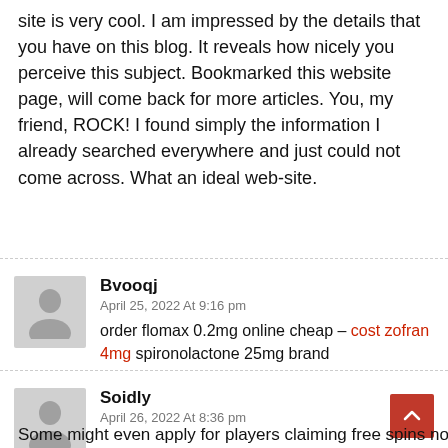site is very cool. I am impressed by the details that you have on this blog. It reveals how nicely you perceive this subject. Bookmarked this website page, will come back for more articles. You, my friend, ROCK! I found simply the information I already searched everywhere and just could not come across. What an ideal web-site.
Bvooqj
April 25, 2022 At 9:16 pm
order flomax 0.2mg online cheap – cost zofran 4mg spironolactone 25mg brand
Soidly
April 26, 2022 At 8:36 pm
Some might even apply for players claiming free spins no